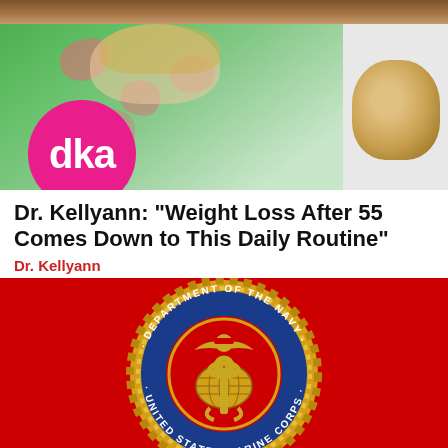[Figure (photo): Woman in green floral dress sitting, with pink circle logo showing 'dka' in white text in lower left corner. Wooden shelf visible at top, white shelving unit at right.]
Dr. Kellyann: "Weight Loss After 55 Comes Down to This Daily Routine"
Dr. Kellyann
[Figure (photo): United States Marine Corps seal on a red background. Blue circle with gold rope border reading 'DEPARTMENT OF THE NAVY' at top and 'UNITED STATES MARINE CORPS' at bottom, with eagle globe and anchor emblem in center.]